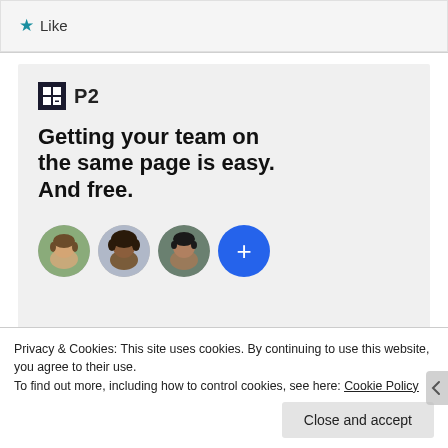[Figure (other): Like button with star icon in light gray bar]
[Figure (infographic): P2 advertisement block: logo, headline 'Getting your team on the same page is easy. And free.' with three person avatars and a blue plus button]
Privacy & Cookies: This site uses cookies. By continuing to use this website, you agree to their use. To find out more, including how to control cookies, see here: Cookie Policy
Close and accept